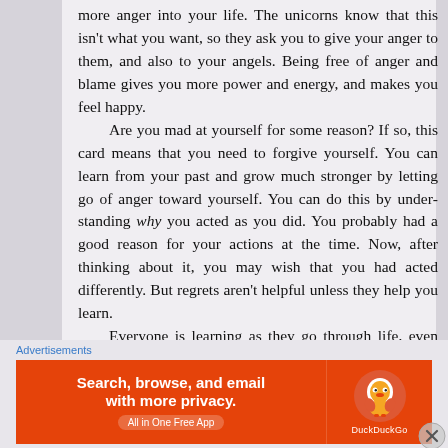more anger into your life. The unicorns know that this isn't what you want, so they ask you to give your anger to them, and also to your angels. Being free of anger and blame gives you more power and energy, and makes you feel happy.

Are you mad at yourself for some reason? If so, this card means that you need to forgive yourself. You can learn from your past and grow much stronger by letting go of anger toward yourself. You can do this by understanding why you acted as you did. You probably had a good reason for your actions at the time. Now, after thinking about it, you may wish that you had acted differently. But regrets aren't helpful unless they help you learn.

Everyone is learning as they go through life, even adults. Do your best to understand this, and you'll be able to let go of anger toward you...
Advertisements
[Figure (other): DuckDuckGo advertisement banner. Orange background. Left side text: 'Search, browse, and email with more privacy. All in One Free App'. Right side: DuckDuckGo duck logo and label 'DuckDuckGo'.]